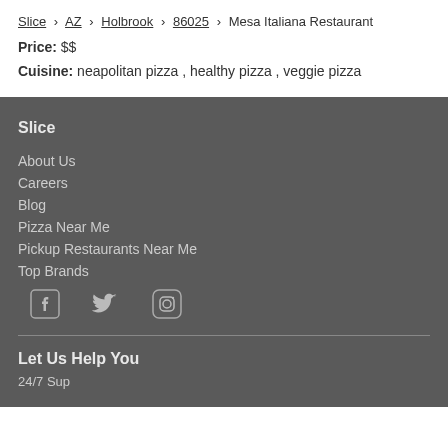Slice > AZ > Holbrook > 86025 > Mesa Italiana Restaurant
Price: $$
Cuisine: neapolitan pizza, healthy pizza, veggie pizza
Slice
About Us
Careers
Blog
Pizza Near Me
Pickup Restaurants Near Me
Top Brands
[Figure (other): Social media icons: Facebook, Twitter, Instagram]
Let Us Help You
24/7 Support